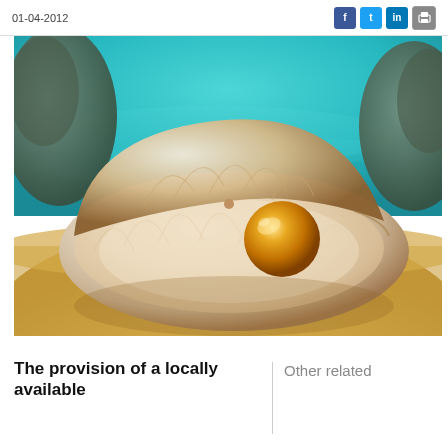01-04-2012
[Figure (photo): An open white scallop shell resting on sandy beach with a golden pearl inside, turquoise sea and rocks in the background.]
The provision of a locally available
Other related